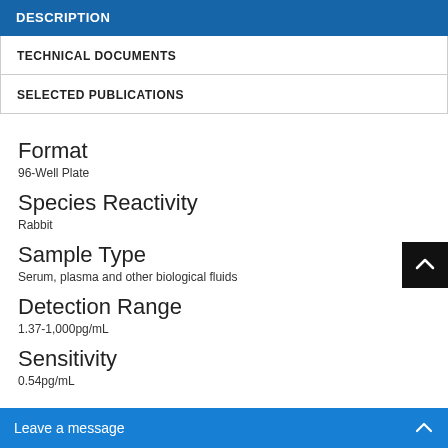DESCRIPTION
TECHNICAL DOCUMENTS
SELECTED PUBLICATIONS
Format
96-Well Plate
Species Reactivity
Rabbit
Sample Type
Serum, plasma and other biological fluids
Detection Range
1.37-1,000pg/mL
Sensitivity
0.54pg/mL
Leave a message